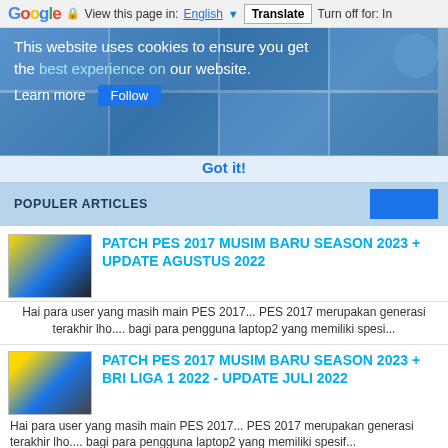Google  View this page in: English [▼]  Translate  Turn off for: In
[Figure (screenshot): Cookie consent overlay on a sports/gaming website showing blurred background images and cookie notice]
This website uses cookies to ensure you get the best experience on our website.
Learn more
Got it!
POPULER ARTICLES
PATCH PES 2017 MUSIM BARU SEASON 2023 + UPDATE AGUSTUS 2022
Hai para user yang masih main PES 2017... PES 2017 merupakan generasi terakhir lho.... bagi para pengguna laptop2 yang memiliki spesi...
PATCH PES 2017 MUSIM BARU SEASON 2023 + BRI LIGA 1 2022 - UPDATE JULI 2022
Hai para user yang masih main PES 2017... PES 2017 merupakan generasi terakhir lho.... bagi para pengguna laptop2 yang memiliki spesif...
PATCH PES 2017 MUSIM BARU ROAD TO 2023 SEASON
Hai para user yang masih main PES 2017... PES 2017 merupakan generasi terakhir lho.... bagi para pengguna laptop2 yang memiliki spesifi...